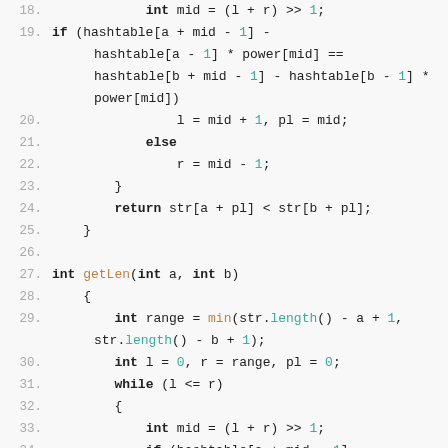Code listing lines 18-34 showing C++ suffix array comparison and getLen function implementation